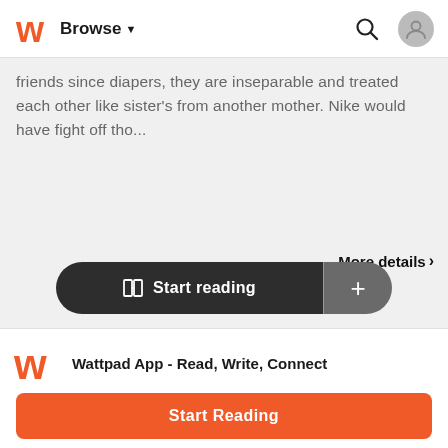Browse
friends since diapers, they are inseparable and treated each other like sister's from another mother. Nike would have fight off tho...
More details >
Start reading  +
Wattpad App - Read, Write, Connect
Start Reading
Log in with Browser